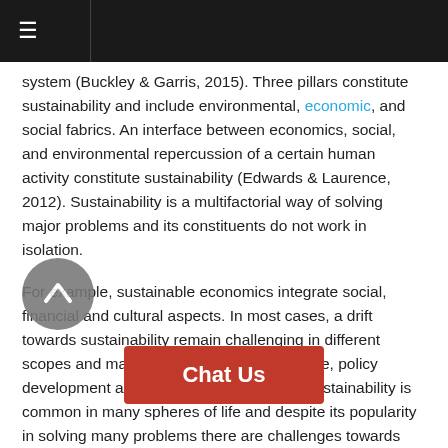≡
system (Buckley & Garris, 2015). Three pillars constitute sustainability and include environmental, economic, and social fabrics. An interface between economics, social, and environmental repercussion of a certain human activity constitute sustainability (Edwards & Laurence, 2012). Sustainability is a multifactorial way of solving major problems and its constituents do not work in isolation.
For example, sustainable economics integrate social, financial and cultural aspects. In most cases, a drift towards sustainability remain challenging in different scopes and may include a change of lifestyle, policy development and social ethics. The word sustainability is common in many spheres of life and despite its popularity in solving many problems there are challenges towards implementation (Baker et al, 2013). For instance, the world has convened many forums to look into the issue of environmental degradation with the famous one being the Kyoto Protocol. M... hieved in terms of [continues below]